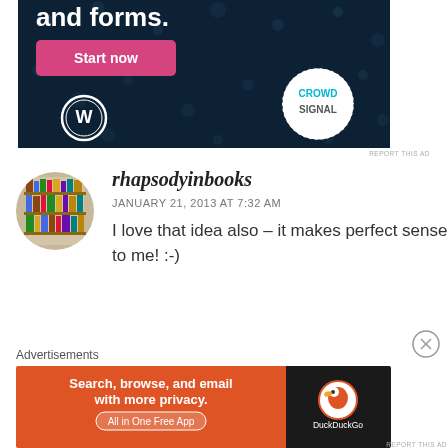[Figure (screenshot): Top advertisement banner with dark navy background showing 'and forms.' text, a pink 'Start now' button, WordPress logo, and Crowdsignal logo]
REPORT THIS AD
[Figure (photo): Round avatar image of a bookshelf with books]
rhapsodyinbooks
JANUARY 21, 2013 AT 7:32 AM
I love that idea also – it makes perfect sense to me! :-)
Advertisements
[Figure (screenshot): DuckDuckGo advertisement banner with orange left panel saying 'Search, browse, and email with more privacy. All in One Free App' and dark right panel with DuckDuckGo logo]